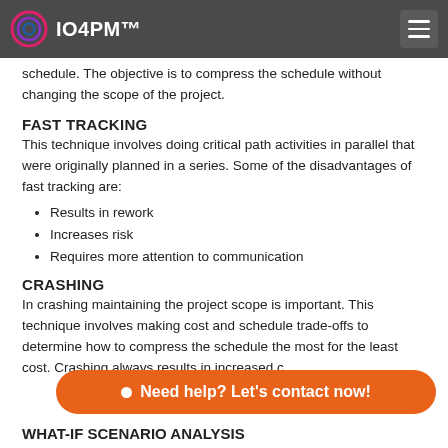IO4PM™
schedule. The objective is to compress the schedule without changing the scope of the project.
FAST TRACKING
This technique involves doing critical path activities in parallel that were originally planned in a series. Some of the disadvantages of fast tracking are:
Results in rework
Increases risk
Requires more attention to communication
CRASHING
In crashing maintaining the project scope is important. This technique involves making cost and schedule trade-offs to determine how to compress the schedule the most for the least cost. Crashing always results in increased c
Need help? Let's contact now!
WHAT-IF SCENARIO ANALYSIS